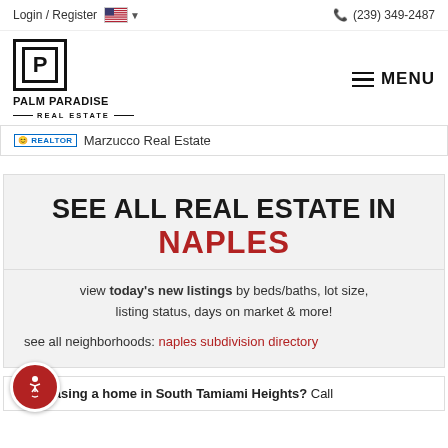Login / Register   (239) 349-2487
[Figure (logo): Palm Paradise Real Estate logo with stylized P in a box]
Marzucco Real Estate
SEE ALL REAL ESTATE IN NAPLES
view today's new listings by beds/baths, lot size, listing status, days on market & more!
see all neighborhoods: naples subdivision directory
Purchasing a home in South Tamiami Heights? Call